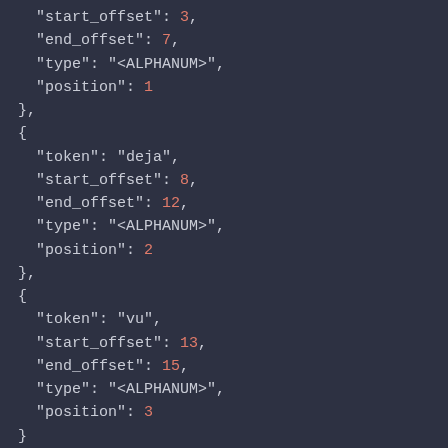JSON code snippet showing token objects with start_offset, end_offset, type, and position fields